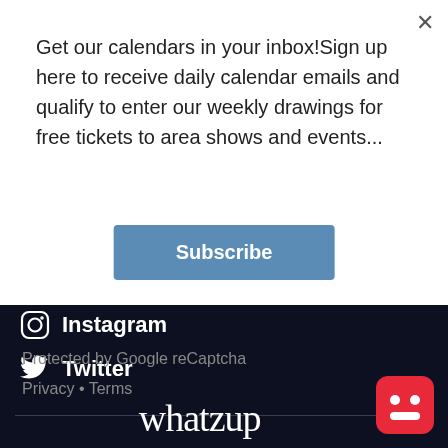Get our calendars in your inbox!Sign up here to receive daily calendar emails and qualify to enter our weekly drawings for free tickets to area shows and events...
Subscribe
Instagram
Twitter
Protected by Google reCaptcha
Privacy • Terms
[Figure (logo): whatzup logo in white serif font]
[Figure (illustration): Red rounded square with white robot/smile face icon]